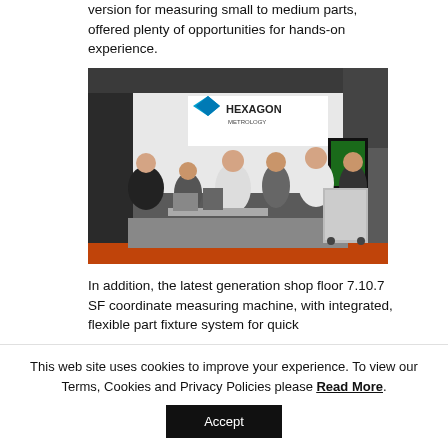version for measuring small to medium parts, offered plenty of opportunities for hands-on experience.
[Figure (photo): Trade show booth for Hexagon Metrology with several attendees gathered around measurement equipment displays. The Hexagon Metrology logo is visible on a banner at the back of the booth.]
In addition, the latest generation shop floor 7.10.7 SF coordinate measuring machine, with integrated, flexible part fixture system for quick
This web site uses cookies to improve your experience. To view our Terms, Cookies and Privacy Policies please Read More.
Accept